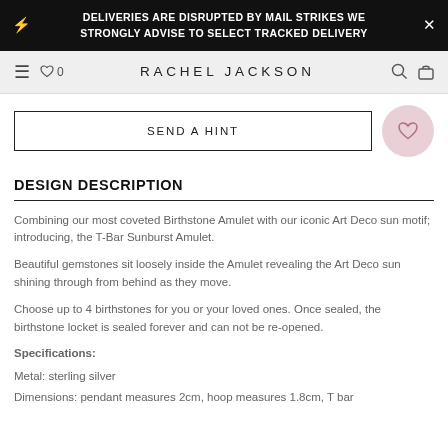DELIVERIES ARE DISRUPTED BY MAIL STRIKES WE STRONGLY ADVISE TO SELECT TRACKED DELIVERY
RACHEL JACKSON
SEND A HINT
DESIGN DESCRIPTION
Combining our most coveted Birthstone Amulet with our iconic Art Deco sun motif; introducing, the T-Bar Sunburst Amulet.
Beautiful gemstones sit loosely inside the Amulet revealing the Art Deco sun shining through from behind as they move.
Choose up to 4 birthstones for you or your loved ones.  Once sealed, the birthstone locket is sealed forever and can not be re-opened.
Specifications:
Metal: sterling silver
Dimensions: pendant measures 2cm, hoop measures 1.8cm, T bar